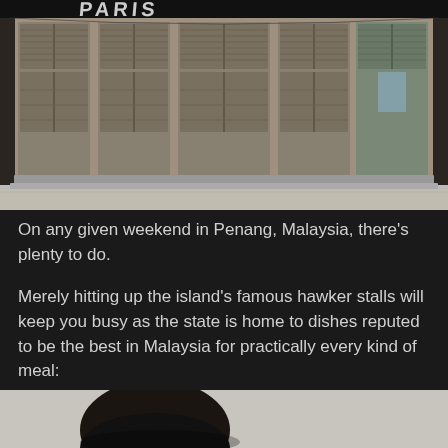[Figure (photo): Photograph of aged wooden shuttered doors and windows on a weathered colonial-style shophouse facade in Penang, Malaysia. The wooden shutters are painted grey-white and show significant wear. A partial text overlay at the very top reads in stylized brush lettering.]
On any given weekend in Penang, Malaysia, there's plenty to do.
Merely hitting up the island's famous hawker stalls will keep you busy as the state is home to dishes reputed to be the best in Malaysia for practically every kind of meal:
[Figure (photo): Partial bottom photo showing what appears to be a dark bowl or food item on a light background, cropped at the bottom of the page.]